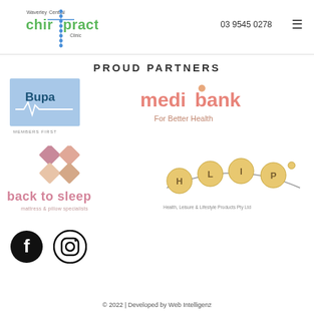Waverley Central Chiropractic Clinic | 03 9545 0278
PROUD PARTNERS
[Figure (logo): Bupa Members First logo - blue square with Bupa wordmark and heartbeat line, text MEMBERS FIRST below]
[Figure (logo): Medibank For Better Health logo - pink/salmon text medibank with lowercase i dotted, subtitle For Better Health]
[Figure (logo): Back to sleep mattress & pillow specialists logo - pink diamond pattern, text back to sleep in pink, subtitle mattress & pillow specialists]
[Figure (logo): HLIP Health Leisure & Lifestyle Products Pty Ltd logo - circular letter badges H L I P on a curved line]
[Figure (logo): Facebook and Instagram social media icons in black]
© 2022 | Developed by Web Intelligenz